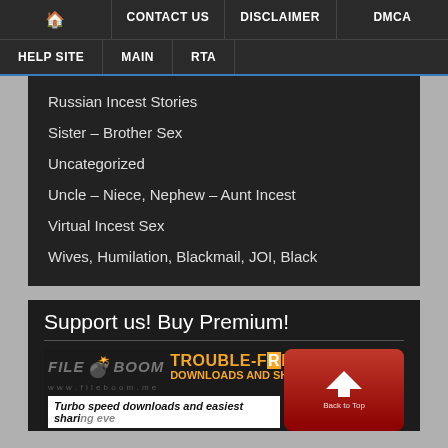🏠  CONTACT US  DISCLAIMER  DMCA  HELP SITE  MAIN  RTA
Russian Incest Stories
Sister – Brother Sex
Uncategorized
Uncle – Niece, Nephew – Aunt Incest
Virtual Incest Sex
Wives, Humilation, Blackmail, JOI, Black
Support us! Buy Premium!
[Figure (screenshot): FileBoom banner advertisement with orange 'TROUBLE-FREE DOWNLOADS AND SHARING' text and red upload button with 'Back to Top' label. Below shows text: 'Turbo speed downloads and easiest sharing ever']